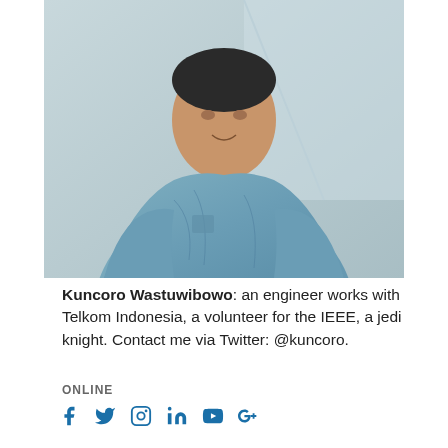[Figure (photo): Photo of Kuncoro Wastuwibowo, a man wearing a blue batik shirt, photo cropped at top showing upper body]
Kuncoro Wastuwibowo: an engineer works with Telkom Indonesia, a volunteer for the IEEE, a jedi knight. Contact me via Twitter: @kuncoro.
ONLINE
[Figure (illustration): Social media icons: Facebook, Twitter, Instagram, LinkedIn, YouTube, Google+]
TOPICS
4G AGM APCC Bali Bandung Comnetsat Comsoc Conference Coventry Cyberneticscom Education England Eyjafjallajökull Forum Groovia IC3INA IEEE IIJ Indonesia Industry Relation Internet IPTV Jakarta Jeju Korea London LTE mobile